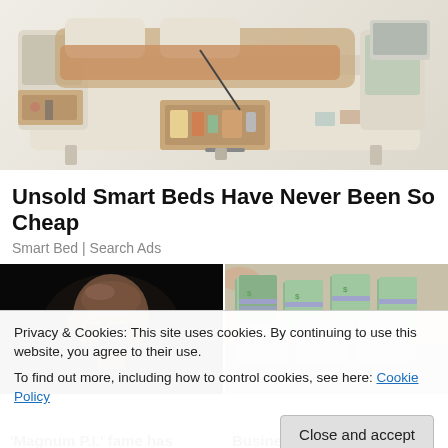[Figure (photo): Photo of a white/cream modern smart bed with storage drawers open, showing compartments with items, and various features including what appears to be a massage unit and side table, viewed from an angle on a white background.]
Unsold Smart Beds Have Never Been So Cheap
Smart Bed | Search Ads
[Figure (photo): Dark photo of a bald man wearing glasses, dimly lit against a black background.]
[Figure (photo): Photo of stacks of bundled US dollar bills on a table.]
Privacy & Cookies: This site uses cookies. By continuing to use this website, you agree to their use.
To find out more, including how to control cookies, see here: Cookie Policy
Close and accept
'Magnum P.I.' fame has
Business Loans Approved